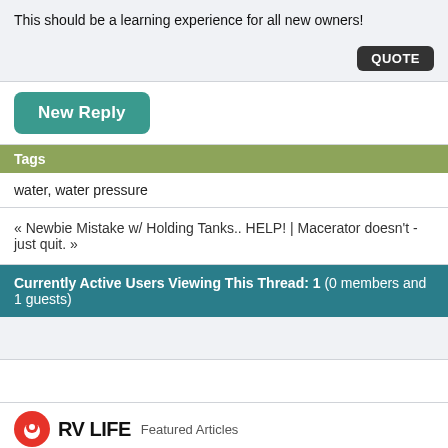This should be a learning experience for all new owners!
QUOTE
New Reply
Tags
water, water pressure
« Newbie Mistake w/ Holding Tanks.. HELP! | Macerator doesn't - just quit. »
Currently Active Users Viewing This Thread: 1 (0 members and 1 guests)
RV LIFE  Featured Articles